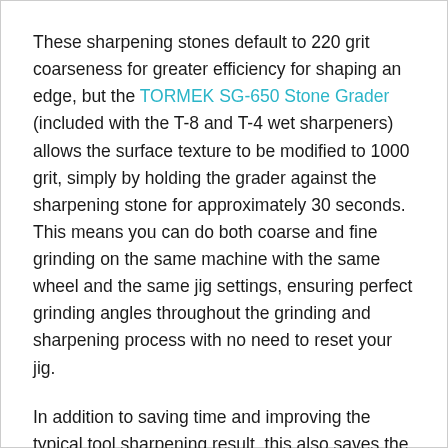These sharpening stones default to 220 grit coarseness for greater efficiency for shaping an edge, but the TORMEK SG-650 Stone Grader (included with the T-8 and T-4 wet sharpeners) allows the surface texture to be modified to 1000 grit, simply by holding the grader against the sharpening stone for approximately 30 seconds. This means you can do both coarse and fine grinding on the same machine with the same wheel and the same jig settings, ensuring perfect grinding angles throughout the grinding and sharpening process with no need to reset your jig.
In addition to saving time and improving the typical tool sharpening result, this also saves the cost of a second sharpening stone.